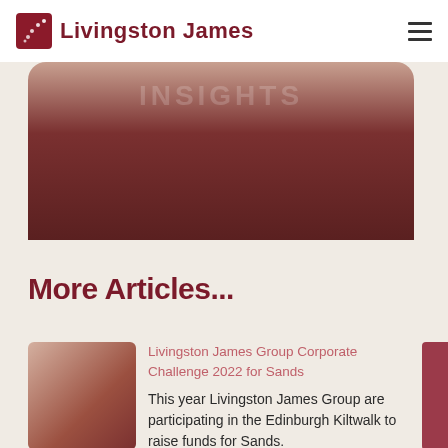Livingston James
[Figure (photo): Dark reddish-brown hero banner image, partially visible, with rounded top corners]
More Articles...
Livingston James Group Corporate Challenge 2022 for Sands
This year Livingston James Group are participating in the Edinburgh Kiltwalk to raise funds for Sands.